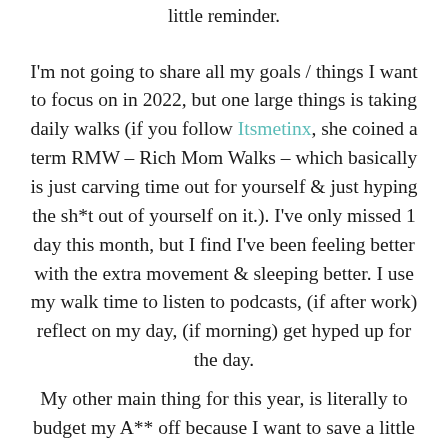little reminder.
I'm not going to share all my goals / things I want to focus on in 2022, but one large things is taking daily walks (if you follow Itsmetinx, she coined a term RMW – Rich Mom Walks – which basically is just carving time out for yourself & just hyping the sh*t out of yourself on it.). I've only missed 1 day this month, but I find I've been feeling better with the extra movement & sleeping better. I use my walk time to listen to podcasts, (if after work) reflect on my day, (if morning) get hyped up for the day.
My other main thing for this year, is literally to budget my A** off because I want to save a little more. I spent the other day getting my budget spreadsheet for 2022 together, & I actually opened another side savings account for myself to put money away monthly (with an